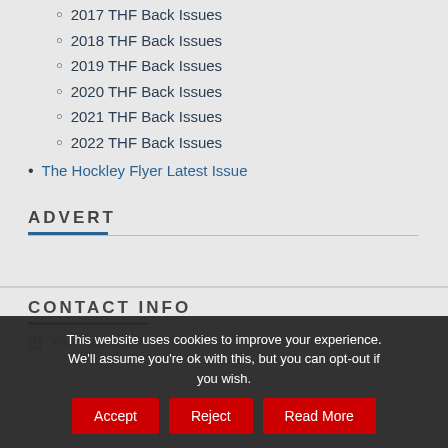2017 THF Back Issues
2018 THF Back Issues
2019 THF Back Issues
2020 THF Back Issues
2021 THF Back Issues
2022 THF Back Issues
The Hockley Flyer Latest Issue
ADVERT
CONTACT INFO
YBA Publications
This website uses cookies to improve your experience. We'll assume you're ok with this, but you can opt-out if you wish.